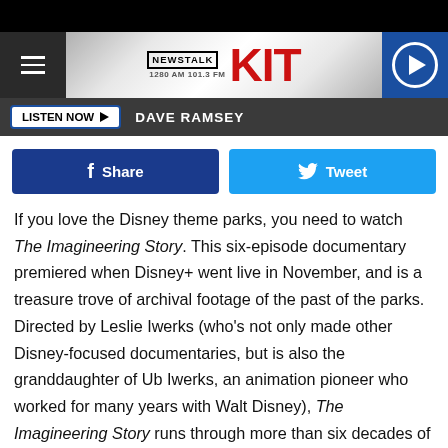[Figure (logo): NewsAlk KIT 1280 AM 101.3 FM radio station logo with hamburger menu and play button]
LISTEN NOW ▶  DAVE RAMSEY
[Figure (other): Facebook Share and Twitter Tweet social sharing buttons]
If you love the Disney theme parks, you need to watch The Imagineering Story. This six-episode documentary premiered when Disney+ went live in November, and is a treasure trove of archival footage of the past of the parks. Directed by Leslie Iwerks (who's not only made other Disney-focused documentaries, but is also the granddaughter of Ub Iwerks, an animation pioneer who worked for many years with Walt Disney), The Imagineering Story runs through more than six decades of theme-park history; everything from the Pirates of